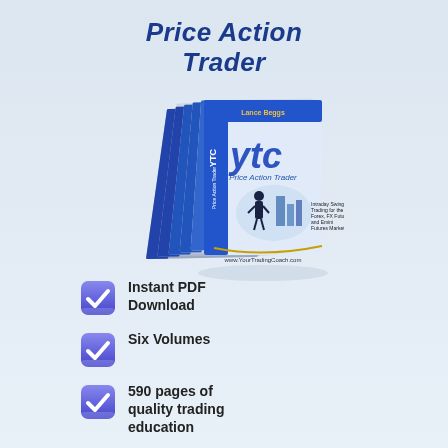Price Action Trader
[Figure (illustration): Stack of six YTC Price Action Trader book volumes with blue spine, showing cover with 'ytc Price Action Trader' branding, author Lance Beggs, and www.YourTradingCoach.com]
Instant PDF Download
Six Volumes
590 pages of quality trading education
Including 377